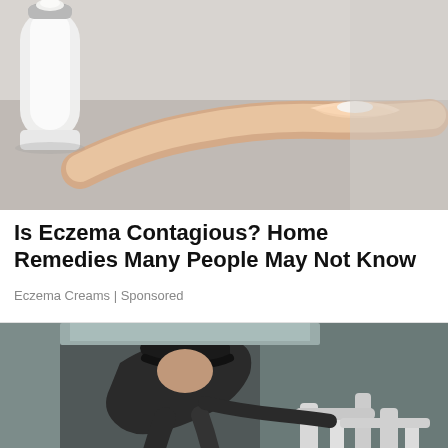[Figure (photo): Close-up photo of a hand squeezing cream out of a tube onto a fingertip]
Is Eczema Contagious? Home Remedies Many People May Not Know
Eczema Creams | Sponsored
[Figure (photo): Photo of a plumber wearing a black cap working under a sink with pipes]